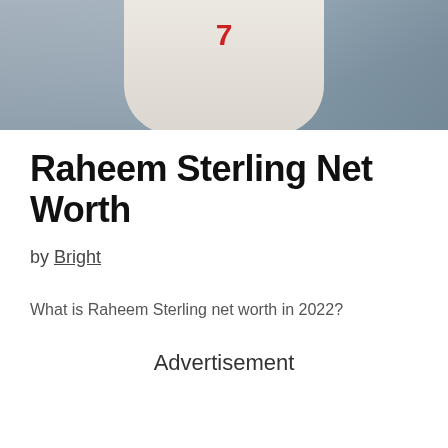[Figure (photo): Raheem Sterling wearing a white jersey with number 7, cropped showing torso, with crowd in background]
Raheem Sterling Net Worth
by Bright
What is Raheem Sterling net worth in 2022?
Advertisement